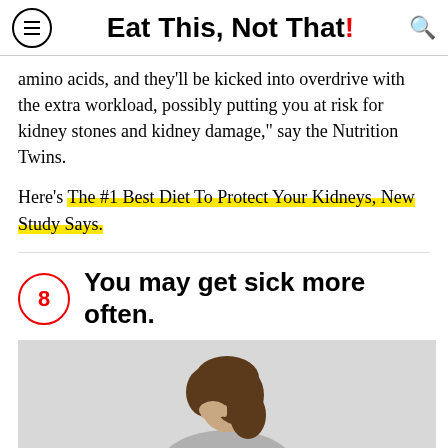Eat This, Not That!
amino acids, and they'll be kicked into overdrive with the extra workload, possibly putting you at risk for kidney stones and kidney damage," say the Nutrition Twins.
Here's The #1 Best Diet To Protect Your Kidneys, New Study Says.
8 You may get sick more often.
[Figure (photo): Woman looking downward, appearing ill or stressed, gray background]